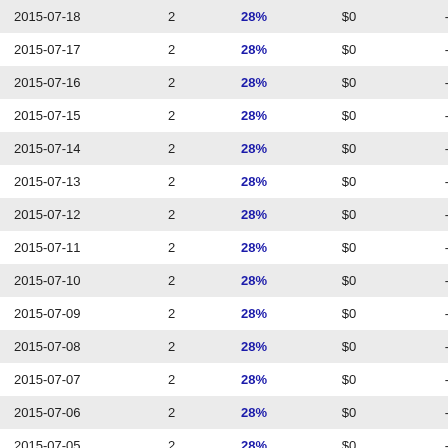| 2015-07-18 | 2 | 28% | $0 | -- |
| 2015-07-17 | 2 | 28% | $0 | -- |
| 2015-07-16 | 2 | 28% | $0 | -- |
| 2015-07-15 | 2 | 28% | $0 | -- |
| 2015-07-14 | 2 | 28% | $0 | -- |
| 2015-07-13 | 2 | 28% | $0 | -- |
| 2015-07-12 | 2 | 28% | $0 | -- |
| 2015-07-11 | 2 | 28% | $0 | -- |
| 2015-07-10 | 2 | 28% | $0 | -- |
| 2015-07-09 | 2 | 28% | $0 | -- |
| 2015-07-08 | 2 | 28% | $0 | -- |
| 2015-07-07 | 2 | 28% | $0 | -- |
| 2015-07-06 | 2 | 28% | $0 | -- |
| 2015-07-05 | 2 | 28% | $0 | -- |
| 2015-07-04 | 2 | 28% | $0 | -- |
| 2015-07-03 | 2 | 29% | $0 | -- |